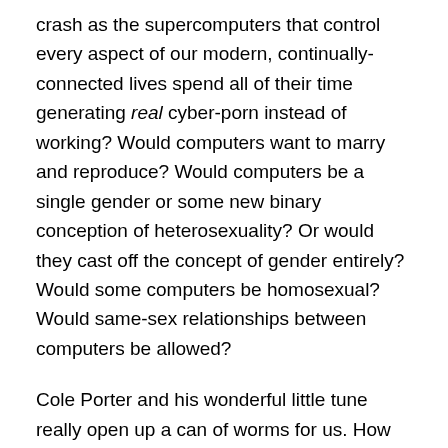crash as the supercomputers that control every aspect of our modern, continually-connected lives spend all of their time generating real cyber-porn instead of working? Would computers want to marry and reproduce? Would computers be a single gender or some new binary conception of heterosexuality? Or would they cast off the concept of gender entirely? Would some computers be homosexual? Would same-sex relationships between computers be allowed?
Cole Porter and his wonderful little tune really open up a can of worms for us. How are we going to deal with the coming onslaught of super-intelligent, love-struck, and horny machines who want equal rights—and can freeze our bank accounts and shut down the Internet?
Literature and popular culture are awash with works that